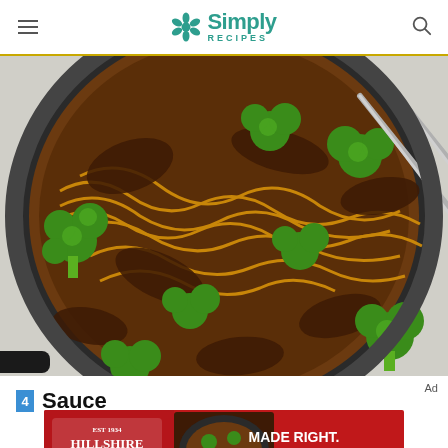Simply Recipes
[Figure (photo): Overhead view of a large dark skillet containing beef and broccoli stir fry with ramen noodles, with metal tongs resting in the pan]
4  Sauce
Ad
[Figure (photo): Hillshire Farm advertisement banner reading MADE RIGHT. ON THE FARM. with image of a skillet dish]